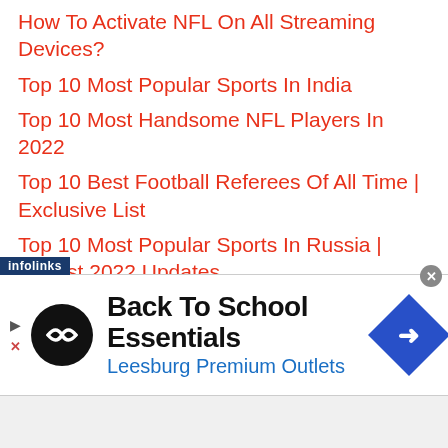How To Activate NFL On All Streaming Devices?
Top 10 Most Popular Sports In India
Top 10 Most Handsome NFL Players In 2022
Top 10 Best Football Referees Of All Time | Exclusive List
Top 10 Most Popular Sports In Russia | August 2022 Updates
Top 10 Hottest Cheerleaders In The World | 2022 Ranking
Top 10 Greatest Wicket keepers In Cricket History | All-Time Ranking
[Figure (screenshot): Advertisement banner: Back To School Essentials - Leesburg Premium Outlets, with infolinks label, circular logo, and blue diamond arrow icon. Close button (x) in top right.]